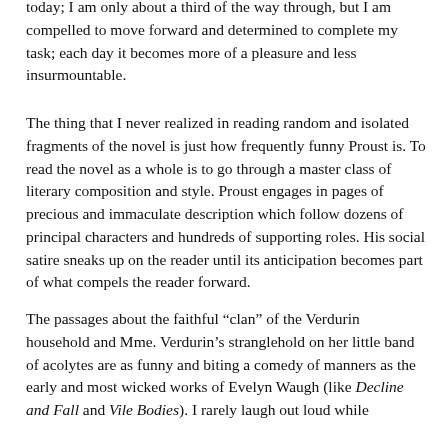today; I am only about a third of the way through, but I am compelled to move forward and determined to complete my task; each day it becomes more of a pleasure and less insurmountable.
The thing that I never realized in reading random and isolated fragments of the novel is just how frequently funny Proust is. To read the novel as a whole is to go through a master class of literary composition and style. Proust engages in pages of precious and immaculate description which follow dozens of principal characters and hundreds of supporting roles. His social satire sneaks up on the reader until its anticipation becomes part of what compels the reader forward.
The passages about the faithful “clan” of the Verdurin household and Mme. Verdurin’s stranglehold on her little band of acolytes are as funny and biting a comedy of manners as the early and most wicked works of Evelyn Waugh (like Decline and Fall and Vile Bodies). I rarely laugh out loud while